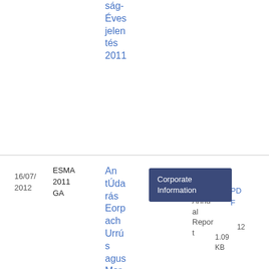ság- Éves jelen tés 2011
16/07/ 2012
ESMA 2011 GA
An tÚda rás Eorp ach Urrú s agus Mar gaí- Tuar ascái l Bhlia ntúil 2011
Corporate Information
Annu al Repor t
PDF
12 1.09 KB